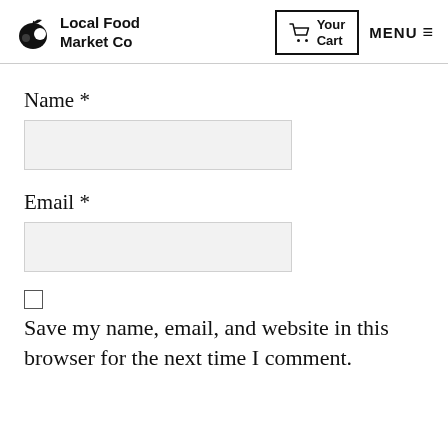Local Food Market Co | Your Cart | MENU
Name *
Email *
Save my name, email, and website in this browser for the next time I comment.